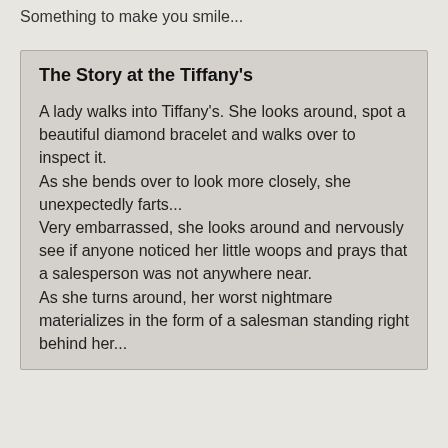Something to make you smile...
The Story at the Tiffany's
A lady walks into Tiffany's. She looks around, spot a beautiful diamond bracelet and walks over to inspect it.
As she bends over to look more closely, she unexpectedly farts...
Very embarrassed, she looks around and nervously see if anyone noticed her little woops and prays that a salesperson was not anywhere near.
As she turns around, her worst nightmare materializes in the form of a salesman standing right behind her...